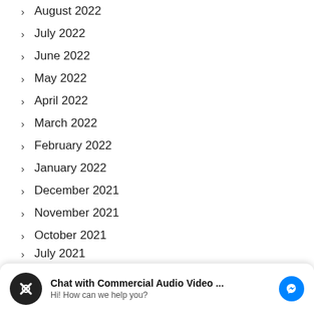August 2022
July 2022
June 2022
May 2022
April 2022
March 2022
February 2022
January 2022
December 2021
November 2021
October 2021
September 2021 (partial)
[Figure (screenshot): Chat widget overlay: 'Chat with Commercial Audio Video ...' with messenger icon and 'Hi! How can we help you?' subtitle]
July 2021